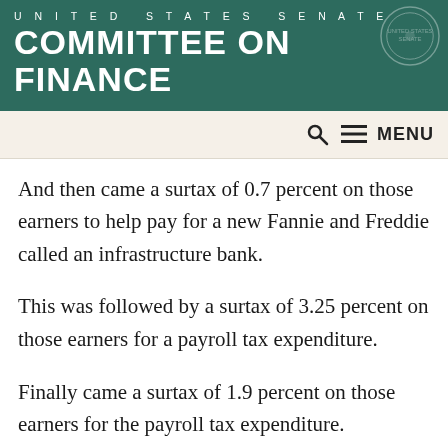UNITED STATES SENATE COMMITTEE ON FINANCE
And then came a surtax of 0.7 percent on those earners to help pay for a new Fannie and Freddie called an infrastructure bank.
This was followed by a surtax of 3.25 percent on those earners for a payroll tax expenditure.
Finally came a surtax of 1.9 percent on those earners for the payroll tax expenditure.